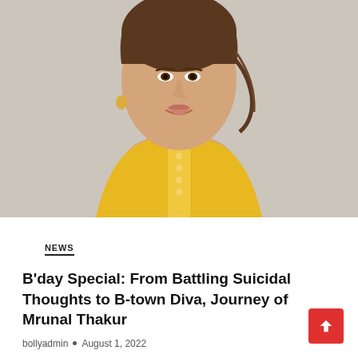[Figure (photo): Portrait photo of Mrunal Thakur, a young woman with hair pulled back, smiling, wearing a yellow embroidered top, against a light beige background.]
NEWS
B'day Special: From Battling Suicidal Thoughts to B-town Diva, Journey of Mrunal Thakur
bollyadmin • August 1, 2022
Well, we have all seen the strong and beautiful Mrunal Thakur from TV star to Bollywood singer. Her acting skills